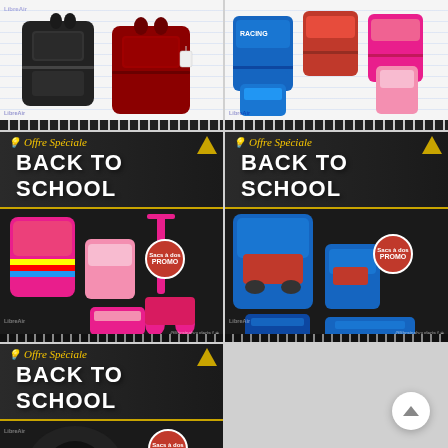[Figure (photo): Two school backpacks on notebook background – black and dark red, with LibreAir watermark and @librainabouderia social handle]
[Figure (photo): Four colorful children school bags on notebook background – blue/red Racing theme and pink, with LibreAir watermark and @librainabouderia social handle]
[Figure (photo): Back to School Offre Spéciale promo banner with colorful unicorn-themed trolley bag set (pink/rainbow), Sacs à dos PROMO badge, LibreAir watermark and @librainabouderia social handle]
[Figure (photo): Back to School Offre Spéciale promo banner with blue racing car school bag set, Sacs à dos PROMO badge, LibreAir watermark and @librainabouderia social handle]
[Figure (photo): Back to School Offre Spéciale promo banner (partially visible) with dark bag, Sacs à dos PROMO badge, LibreAir watermark – bottom left cell]